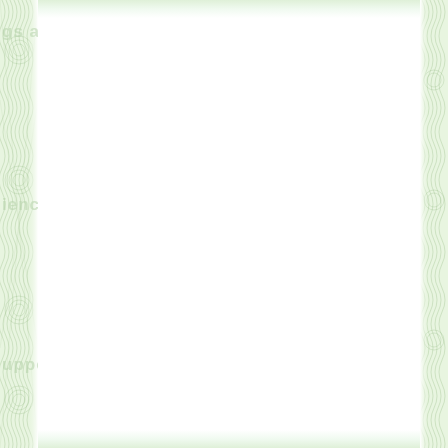[Figure (illustration): Decorative certificate or award border with green guilloche pattern on left and right margins, light green filigree/engraving style ornamental borders. Partial text visible on left side reads 'gs and', 'ience', 'upport'. White center field. Decorative border style typical of certificates, diplomas, or official documents.]